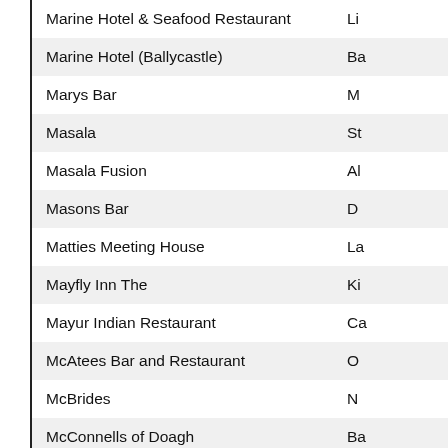| Name | Location |
| --- | --- |
| Marine Hotel & Seafood Restaurant | Li |
| Marine Hotel (Ballycastle) | Ba |
| Marys Bar | M |
| Masala | St |
| Masala Fusion | Al |
| Masons Bar | D |
| Matties Meeting House | La |
| Mayfly Inn The | Ki |
| Mayur Indian Restaurant | Ca |
| McAtees Bar and Restaurant | O |
| McBrides | N |
| McConnells of Doagh | Ba |
| McDonaghs Seafood Bar | G |
| McDonalds Foyleside | D |
| McDonalds Glengormley | N |
| McDonalds Shore Road | Be |
| McDonalds Westwood Centre | Be |
| McEnaneys | Be |